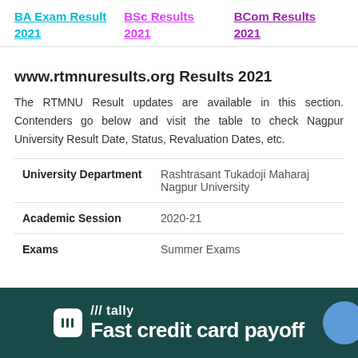BA Exam Result 2021
BSc Results 2021
BCom Results 2021
www.rtmnuresults.org Results 2021
The RTMNU Result updates are available in this section. Contenders go below and visit the table to check Nagpur University Result Date, Status, Revaluation Dates, etc.
| University Department |  |
| --- | --- |
| University Department | Rashtrasant Tukadoji Maharaj Nagpur University |
| Academic Session | 2020-21 |
| Exams | Summer Exams |
[Figure (infographic): Tally app advertisement banner with dark teal background. Shows Tally logo icon, text 'tally' and tagline 'Fast credit card payoff']